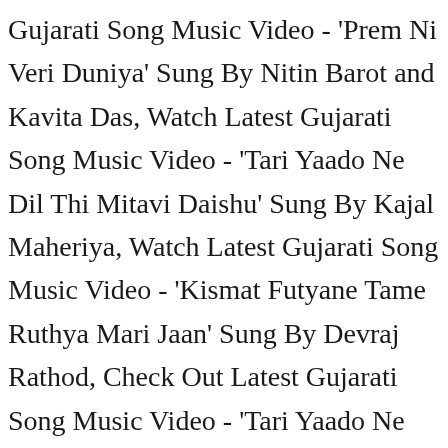Gujarati Song Music Video - 'Prem Ni Veri Duniya' Sung By Nitin Barot and Kavita Das, Watch Latest Gujarati Song Music Video - 'Tari Yaado Ne Dil Thi Mitavi Daishu' Sung By Kajal Maheriya, Watch Latest Gujarati Song Music Video - 'Kismat Futyane Tame Ruthya Mari Jaan' Sung By Devraj Rathod, Check Out Latest Gujarati Song Music Video - 'Tari Yaado Ne Dil Thi Mitavi Daishu' (Teaser) Sung By Kajal Maheriya, Listen To Latest Gujarati Music Audio Song - 'Maro Saybo Aakhi Duniya Ma Chhe